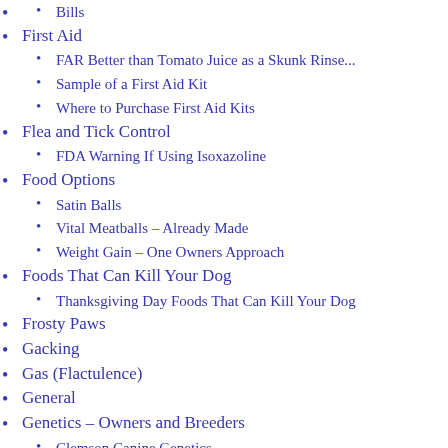Bills
First Aid
FAR Better than Tomato Juice as a Skunk Rinse...
Sample of a First Aid Kit
Where to Purchase First Aid Kits
Flea and Tick Control
FDA Warning If Using Isoxazoline
Food Options
Satin Balls
Vital Meatballs – Already Made
Weight Gain – One Owners Approach
Foods That Can Kill Your Dog
Thanksgiving Day Foods That Can Kill Your Dog
Frosty Paws
Gacking
Gas (Flactulence)
General
Genetics – Owners and Breeders
Clemson Canine Genetics
Research Studies
What Breeders Need to Know
Gastroesophageal Intussusception (GEI)
Geriatric Vestibular Syndrome (GVS)